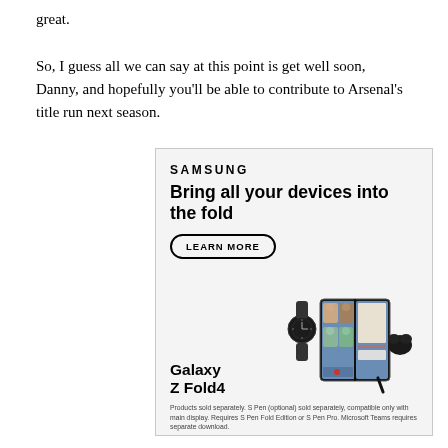great.

So, I guess all we can say at this point is get well soon, Danny, and hopefully you'll be able to contribute to Arsenal's title run next season.
[Figure (illustration): Samsung advertisement for Galaxy Z Fold4. Light gray background with Samsung logo, headline 'Bring all your devices into the fold', a 'LEARN MORE' button, Galaxy Z Fold4 product name, and an illustration of a smartwatch, a foldable phone showing a video call, and wireless earbuds and S Pen.]
Products sold separately. S Pen (optional) sold separately, compatible only with main display. Requires S Pen Fold Edition or S Pen Pro. Microsoft Teams requires separate download.